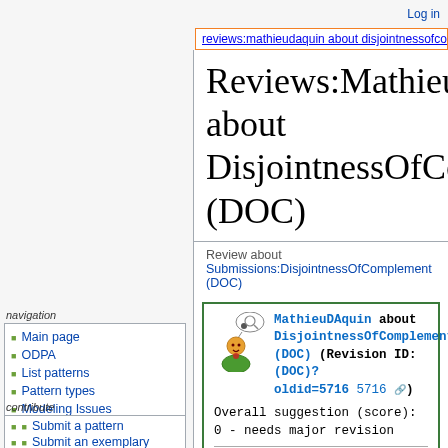Log in
reviews:mathieudaquin about disjointnessofcomp
Reviews:MathieuDAquin about DisjointnessOfComplement (DOC)
Review about Submissions:DisjointnessOfComplement (DOC)
Main page
ODPA
List patterns
Pattern types
Modeling Issues
Domains
Training
Events
Submit a pattern
Submit an exemplary ontology
Post a modeling issue
Review a pattern
Feedback about the
MathieuDAquin about DisjointnessOfComplement (DOC) (Revision ID: (DOC)?oldid=5716 5716) Overall suggestion (score): 0 - needs major revision
Review Summary: I am not really sure what to do here.
What is proposed is an anti-pattern: a